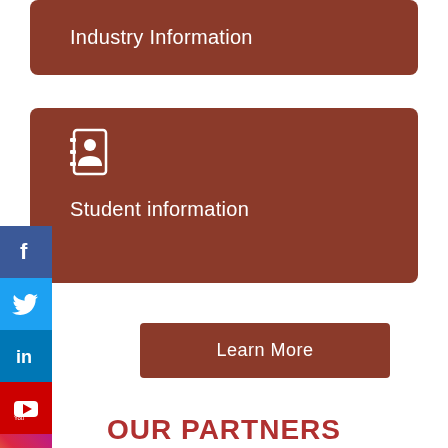Industry Information
[Figure (illustration): Contact book / address book icon in white]
Student information
[Figure (illustration): Facebook social media button]
[Figure (illustration): Twitter social media button]
[Figure (illustration): LinkedIn social media button]
[Figure (illustration): YouTube social media button]
[Figure (illustration): Instagram social media button]
Learn More
OUR PARTNERS